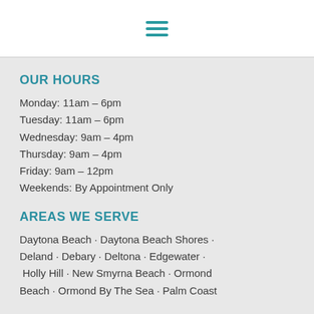[Figure (other): Hamburger menu icon — three horizontal teal lines stacked vertically, centered in white header bar]
OUR HOURS
Monday: 11am – 6pm
Tuesday: 11am – 6pm
Wednesday: 9am – 4pm
Thursday: 9am – 4pm
Friday: 9am – 12pm
Weekends: By Appointment Only
AREAS WE SERVE
Daytona Beach · Daytona Beach Shores · Deland · Debary · Deltona · Edgewater · Holly Hill · New Smyrna Beach · Ormond Beach · Ormond By The Sea · Palm Coast